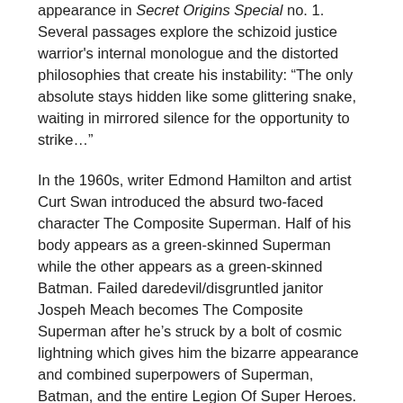appearance in Secret Origins Special no. 1. Several passages explore the schizoid justice warrior's internal monologue and the distorted philosophies that create his instability: “The only absolute stays hidden like some glittering snake, waiting in mirrored silence for the opportunity to strike…”
In the 1960s, writer Edmond Hamilton and artist Curt Swan introduced the absurd two-faced character The Composite Superman. Half of his body appears as a green-skinned Superman while the other appears as a green-skinned Batman. Failed daredevil/disgruntled janitor Jospeh Meach becomes The Composite Superman after he’s struck by a bolt of cosmic lightning which gives him the bizarre appearance and combined superpowers of Superman, Batman, and the entire Legion Of Super Heroes.
Next to Two-Face, this was DC’s second most